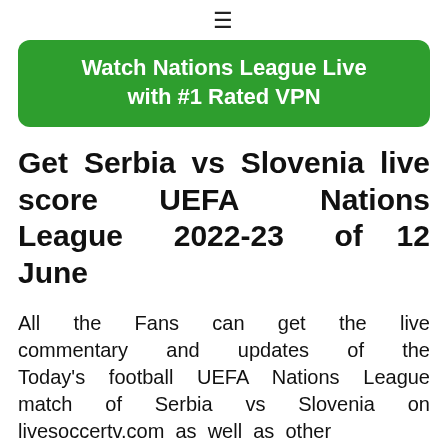≡
[Figure (other): Green rounded button with text: Watch Nations League Live with #1 Rated VPN]
Get Serbia vs Slovenia live score UEFA Nations League 2022-23 of 12 June
All the Fans can get the live commentary and updates of the Today's football UEFA Nations League match of Serbia vs Slovenia on livesoccertv.com as well as other